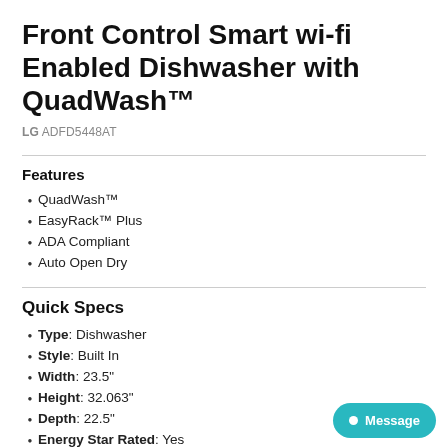Front Control Smart wi-fi Enabled Dishwasher with QuadWash™
LG ADFD5448AT
Features
QuadWash™
EasyRack™ Plus
ADA Compliant
Auto Open Dry
Quick Specs
Type: Dishwasher
Style: Built In
Width: 23.5"
Height: 32.063"
Depth: 22.5"
Energy Star Rated: Yes